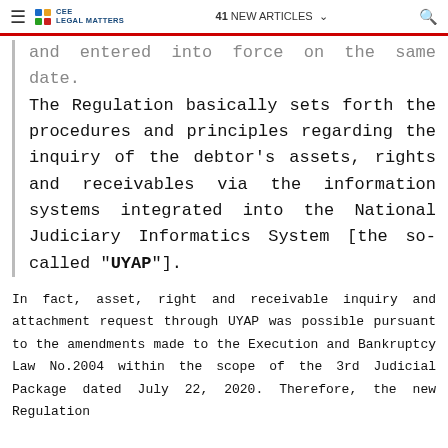≡  CEE LEGAL MATTERS  |  41 NEW ARTICLES  |  🔍
and entered into force on the same date. The Regulation basically sets forth the procedures and principles regarding the inquiry of the debtor's assets, rights and receivables via the information systems integrated into the National Judiciary Informatics System [the so-called "UYAP"].
In fact, asset, right and receivable inquiry and attachment request through UYAP was possible pursuant to the amendments made to the Execution and Bankruptcy Law No.2004 within the scope of the 3rd Judicial Package dated July 22, 2020. Therefore, the new Regulation